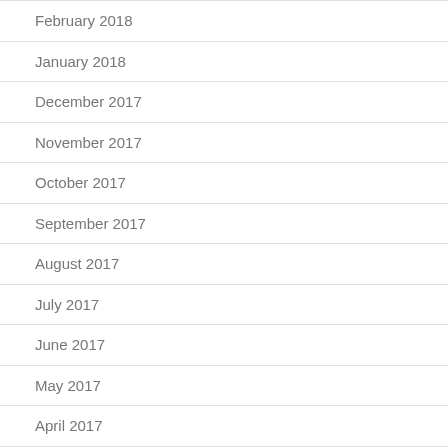February 2018
January 2018
December 2017
November 2017
October 2017
September 2017
August 2017
July 2017
June 2017
May 2017
April 2017
March 2017
February 2017